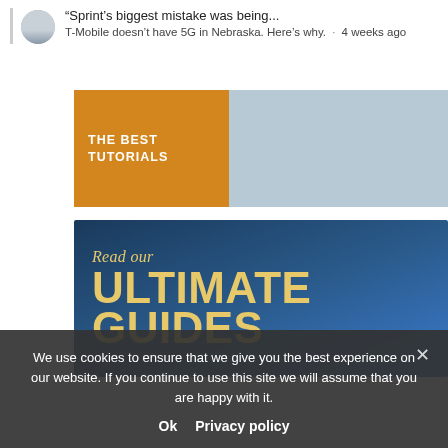“Sprint’s biggest mistake was being...
T-Mobile doesn’t have 5G in Nebraska. Here’s why. · 4 weeks ago
[Figure (screenshot): THE BEST TUTORIALS banner with orange left section and light blue right section]
[Figure (screenshot): Read our ULTIMATE GUIDES banner with dark blue gradient background and gold/yellow text]
We use cookies to ensure that we give you the best experience on our website. If you continue to use this site we will assume that you are happy with it.
Ok   Privacy policy